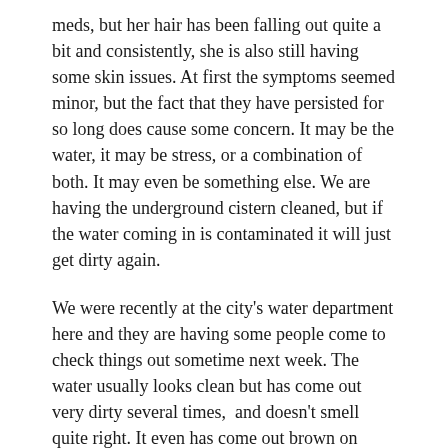meds, but her hair has been falling out quite a bit and consistently, she is also still having some skin issues. At first the symptoms seemed minor, but the fact that they have persisted for so long does cause some concern. It may be the water, it may be stress, or a combination of both. It may even be something else. We are having the underground cistern cleaned, but if the water coming in is contaminated it will just get dirty again.
We were recently at the city's water department here and they are having some people come to check things out sometime next week. The water usually looks clean but has come out very dirty several times,  and doesn't smell quite right. It even has come out brown on several occasions.  The woman we spoke to actually said they have seen this before. Although we don't drink that water, we use it to bathe and wash with which could potentially make us sick.  Christen did have parasites and